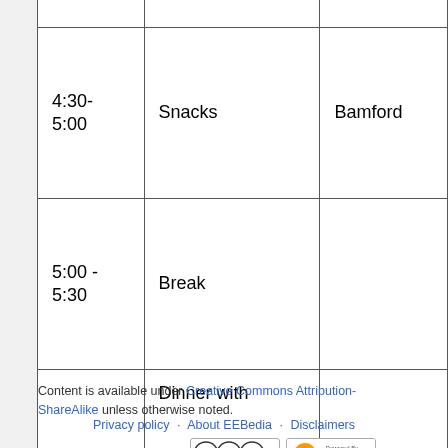| Time | Activity | Location |
| --- | --- | --- |
|  | network for urban forest ecology" |  |
| 4:30-5:00 | Snacks | Bamford |
| 5:00 - 5:30 | Break |  |
| 6:00 | Dinner with _________, _________, ... | TBD |
Content is available under Creative Commons Attribution-ShareAlike unless otherwise noted.
Privacy policy  About EEBedia  Disclaimers